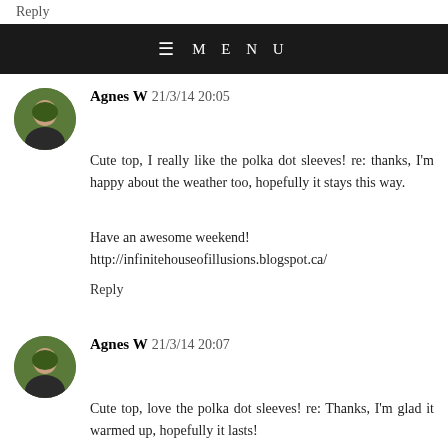Reply
≡ MENU
Agnes W  21/3/14 20:05
Cute top, I really like the polka dot sleeves! re: thanks, I'm happy about the weather too, hopefully it stays this way.

Have an awesome weekend!
http://infinitehouseofillusions.blogspot.ca/

Reply
Agnes W  21/3/14 20:07
Cute top, love the polka dot sleeves! re: Thanks, I'm glad it warmed up, hopefully it lasts!

Have a fab weekend!
http://infinitehouseofillusions.blogspot.ca/

Reply